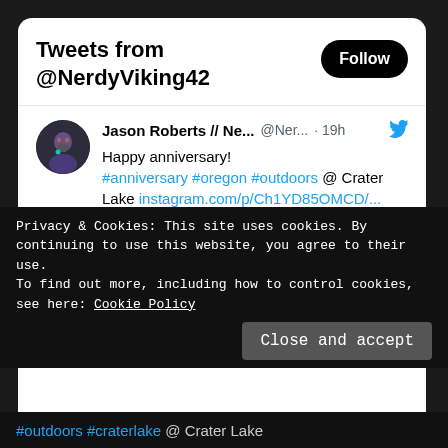Tweets from @NerdyViking42
Jason Roberts // Ne... @Ner... · 19h
Happy anniversary!
#anniversary #oregon #outdoors @ Crater Lake instagram.com/p/Ch1YD85OMCD/...
[Figure (screenshot): Instagram link preview card showing instagram.com domain and text 'Jason Roberts (@therealnerdyviking42...']
Privacy & Cookies: This site uses cookies. By continuing to use this website, you agree to their use.
To find out more, including how to control cookies, see here: Cookie Policy
#outdoors #craterlake @ Crater Lake